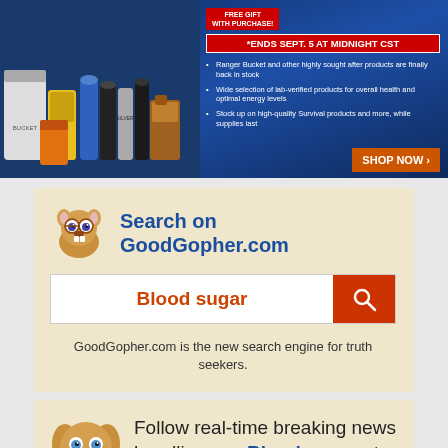[Figure (infographic): Health Ranger Store banner ad with product bottles on the left, text on the right including 'FREE GIFT WITH PURCHASE', '*ENDS SEPT. 5 AT MIDNIGHT CST', bullet points about Ranger Bucket, lab-verified products, and survival products, and a 'SHOP NOW' button]
[Figure (infographic): GoodGopher.com search widget on beige background with gopher mascot logo, 'Search on GoodGopher.com' title, search bar showing 'Blood sugar' in red, and text 'GoodGopher.com is the new search engine for truth seekers.']
[Figure (infographic): FETCH.news widget on beige background with cartoon dog mascot, text 'Follow real-time breaking news headlines on Blood sugar at FETCH.news' and 'The world of independent media, all in one place.']